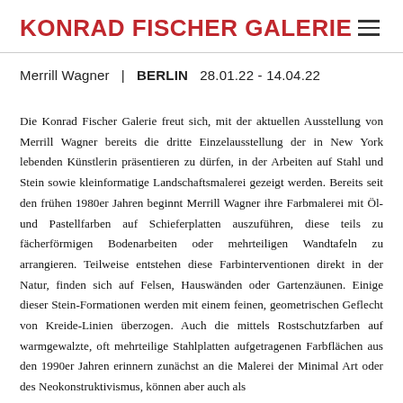KONRAD FISCHER GALERIE
Merrill Wagner  |  BERLIN  28.01.22 - 14.04.22
Die Konrad Fischer Galerie freut sich, mit der aktuellen Ausstellung von Merrill Wagner bereits die dritte Einzelausstellung der in New York lebenden Künstlerin präsentieren zu dürfen, in der Arbeiten auf Stahl und Stein sowie kleinformatige Landschaftsmalerei gezeigt werden. Bereits seit den frühen 1980er Jahren beginnt Merrill Wagner ihre Farbmalerei mit Öl- und Pastellfarben auf Schieferplatten auszuführen, diese teils zu fächerförmigen Bodenarbeiten oder mehrteiligen Wandtafeln zu arrangieren. Teilweise entstehen diese Farbinterventionen direkt in der Natur, finden sich auf Felsen, Hauswänden oder Gartenzäunen. Einige dieser Stein-Formationen werden mit einem feinen, geometrischen Geflecht von Kreide-Linien überzogen. Auch die mittels Rostschutzfarben auf warmgewalzte, oft mehrteilige Stahlplatten aufgetragenen Farbflächen aus den 1990er Jahren erinnern zunächst an die Malerei der Minimal Art oder des Neokonstruktivismus, können aber auch als